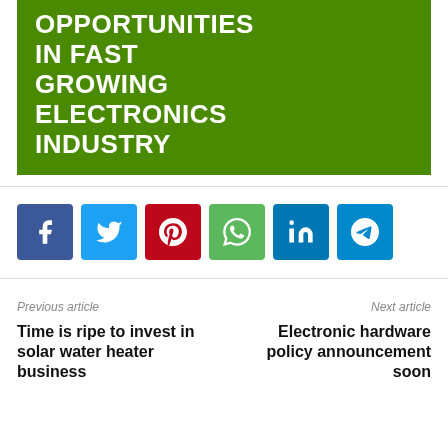[Figure (illustration): Green background banner with bold white uppercase text reading 'OPPORTUNITIES IN FAST GROWING ELECTRONICS INDUSTRY']
[Figure (infographic): A row of six social media share buttons: Facebook (blue), Twitter (light blue), Pinterest (red), WhatsApp (green), LinkedIn (dark blue), Telegram (blue)]
Previous article
Time is ripe to invest in solar water heater business
Next article
Electronic hardware policy announcement soon